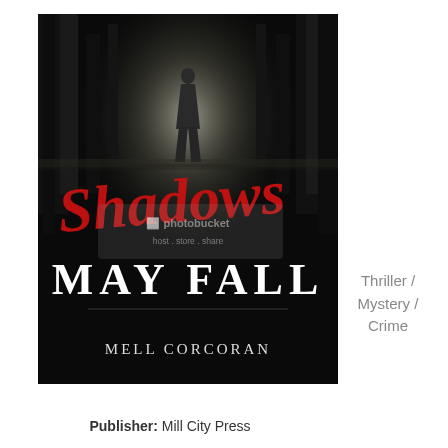[Figure (illustration): Book cover for 'Shadows May Fall' by Mell Corcoran. Dark atmospheric cover showing a silhouette of a person in a misty forest. Title 'Shadows' in red cursive script overlaid with a Photobucket watermark, 'MAY FALL' in large white serif text below, and author name 'MELL CORCORAN' in white at the bottom. All on a black background.]
Thriller / Mystery / Crime
Publisher: Mill City Press